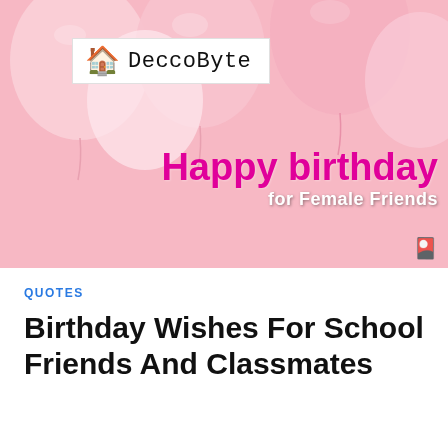[Figure (photo): Pink balloons background with DeccoByte logo and 'Happy birthday for Female Friends' text overlay]
QUOTES
Birthday Wishes For School Friends And Classmates